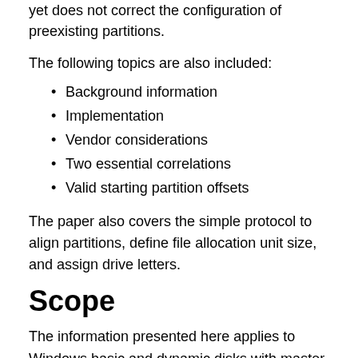yet does not correct the configuration of preexisting partitions.
The following topics are also included:
Background information
Implementation
Vendor considerations
Two essential correlations
Valid starting partition offsets
The paper also covers the simple protocol to align partitions, define file allocation unit size, and assign drive letters.
Scope
The information presented here applies to Windows basic and dynamic disks with master boot record (MBR) partitions.